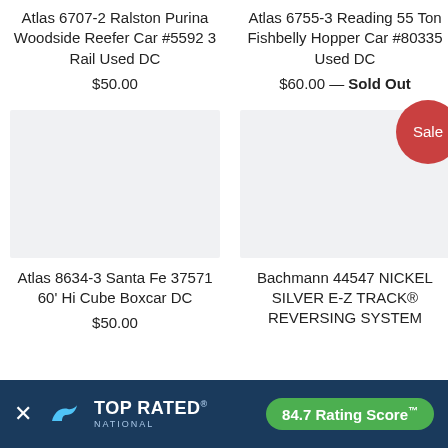Atlas 6707-2 Ralston Purina Woodside Reefer Car #5592 3 Rail Used DC
$50.00
Atlas 6755-3 Reading 55 Ton Fishbelly Hopper Car #80335 Used DC
$60.00 — Sold Out
[Figure (photo): Product image placeholder for Atlas 8634-3 Santa Fe 37571 60' Hi Cube Boxcar DC]
Atlas 8634-3 Santa Fe 37571 60' Hi Cube Boxcar DC
$50.00
[Figure (photo): Product image placeholder with Sale badge for Bachmann 44547 NICKEL SILVER E-Z TRACK REVERSING SYSTEM]
Bachmann 44547 NICKEL SILVER E-Z TRACK® REVERSING SYSTEM
TOP RATED NATIONAL — 84.7 Rating Score™